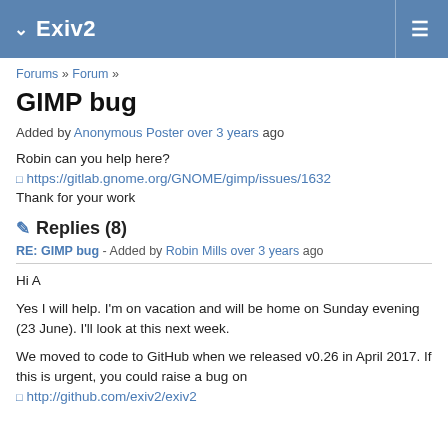Exiv2
Forums » Forum »
GIMP bug
Added by Anonymous Poster over 3 years ago
Robin can you help here?
https://gitlab.gnome.org/GNOME/gimp/issues/1632
Thank for your work
Replies (8)
RE: GIMP bug - Added by Robin Mills over 3 years ago
Hi A
Yes I will help. I'm on vacation and will be home on Sunday evening (23 June). I'll look at this next week.
We moved to code to GitHub when we released v0.26 in April 2017. If this is urgent, you could raise a bug on
http://github.com/exiv2/exiv2